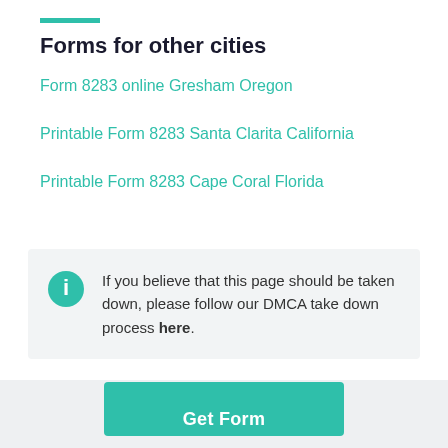Forms for other cities
Form 8283 online Gresham Oregon
Printable Form 8283 Santa Clarita California
Printable Form 8283 Cape Coral Florida
If you believe that this page should be taken down, please follow our DMCA take down process here.
Get Form